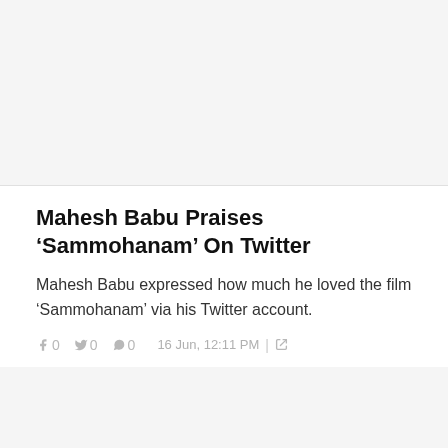[Figure (photo): Top image placeholder area, light gray background]
Mahesh Babu Praises ‘Sammohanam’ On Twitter
Mahesh Babu expressed how much he loved the film ‘Sammohanam’ via his Twitter account.
f 0   0   0   16 Jun, 12:11 PM | share
[Figure (photo): Bottom image placeholder area, light gray background]